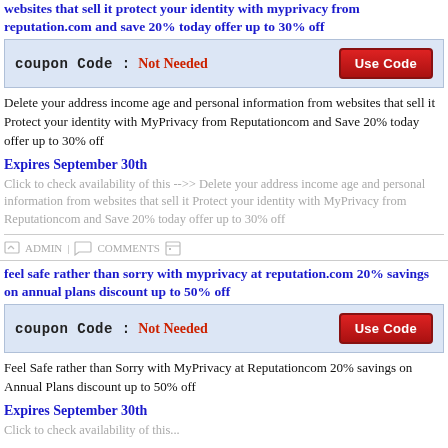websites that sell it protect your identity with myprivacy from reputation.com and save 20% today offer up to 30% off
coupon Code : Not Needed
Delete your address income age and personal information from websites that sell it Protect your identity with MyPrivacy from Reputationcom and Save 20% today offer up to 30% off
Expires September 30th
Click to check availability of this -->> Delete your address income age and personal information from websites that sell it Protect your identity with MyPrivacy from Reputationcom and Save 20% today offer up to 30% off
ADMIN | COMMENTS
feel safe rather than sorry with myprivacy at reputation.com 20% savings on annual plans discount up to 50% off
coupon Code : Not Needed
Feel Safe rather than Sorry with MyPrivacy at Reputationcom 20% savings on Annual Plans discount up to 50% off
Expires September 30th
Click to check availability of this...